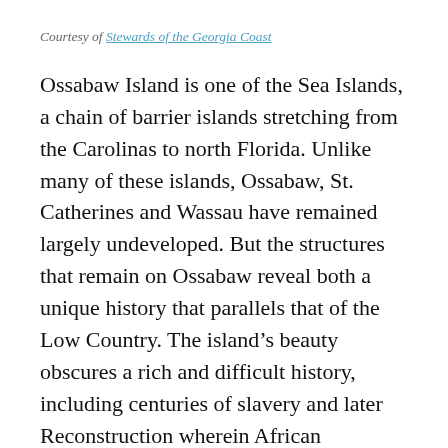Courtesy of Stewards of the Georgia Coast
Ossabaw Island is one of the Sea Islands, a chain of barrier islands stretching from the Carolinas to north Florida. Unlike many of these islands, Ossabaw, St. Catherines and Wassau have remained largely undeveloped. But the structures that remain on Ossabaw reveal both a unique history that parallels that of the Low Country. The island’s beauty obscures a rich and difficult history, including centuries of slavery and later Reconstruction wherein African Americans gained and soon lost access to land. Paddling across the Ogeechee River, I bore in mind that a place of joy to me might yield pain to others.